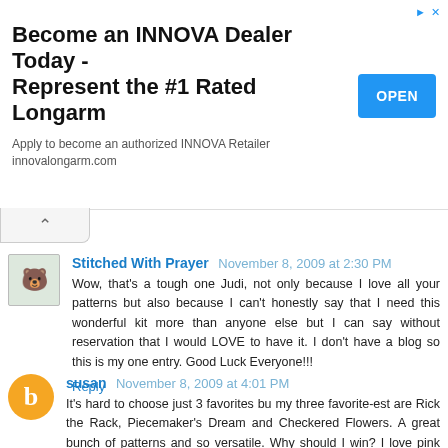[Figure (other): Advertisement banner: 'Become an INNOVA Dealer Today - Represent the #1 Rated Longarm' with OPEN button. Subtext: 'Apply to become an authorized INNOVA Retailer innovalongarm.com']
Stitched With Prayer  November 8, 2009 at 2:30 PM
Wow, that's a tough one Judi, not only because I love all your patterns but also because I can't honestly say that I need this wonderful kit more than anyone else but I can say without reservation that I would LOVE to have it. I don't have a blog so this is my one entry. Good Luck Everyone!!!
Reply
susan  November 8, 2009 at 4:01 PM
It's hard to choose just 3 favorites bu my three favorite-est are Rick the Rack, Piecemaker's Dream and Checkered Flowers. A great bunch of patterns and so versatile. Why should I win? I love pink and green, I've never made